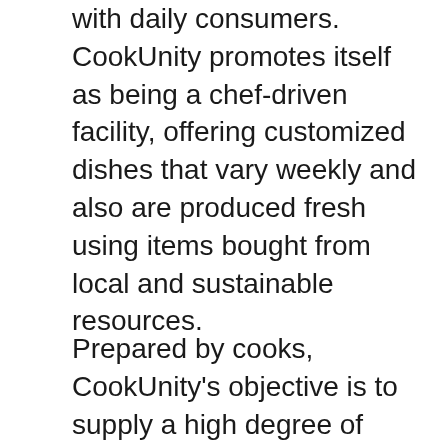with daily consumers. CookUnity promotes itself as being a chef-driven facility, offering customized dishes that vary weekly and also are produced fresh using items bought from local and sustainable resources.
Prepared by cooks, CookUnity's objective is to supply a high degree of delicious as well as chef-created varied meals that can be personalized to match nearly any type of dietary need or premium preference. Even though the meals provided are not customized, the signs at the top of the food choice page assist you in tailoring to your particular demands by allowing you to choose from reduced sodium, vegan, paleo, as well as gluten-free choices, to name a few instances of what is offered.